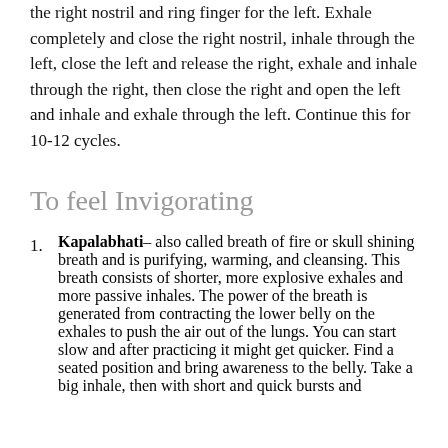the right nostril and ring finger for the left. Exhale completely and close the right nostril, inhale through the left, close the left and release the right, exhale and inhale through the right, then close the right and open the left and inhale and exhale through the left. Continue this for 10-12 cycles.
To feel Invigorating
Kapalabhati– also called breath of fire or skull shining breath and is purifying, warming, and cleansing. This breath consists of shorter, more explosive exhales and more passive inhales. The power of the breath is generated from contracting the lower belly on the exhales to push the air out of the lungs. You can start slow and after practicing it might get quicker. Find a seated position and bring awareness to the belly. Take a big inhale, then with short and quick bursts and